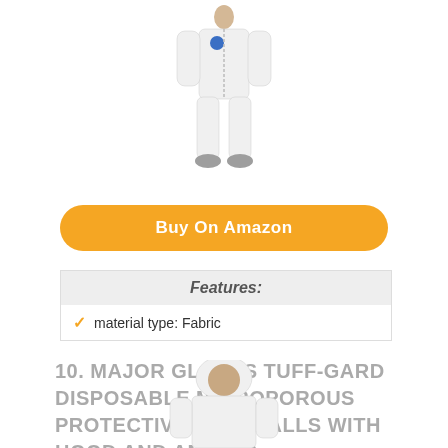[Figure (photo): White disposable coverall suit worn by a person, full body view, with blue logo on chest and grey boot covers]
Buy On Amazon
| Features: |
| --- |
| ✓ material type: Fabric |
10. MAJOR GLOVES TUFF-GARD DISPOSABLE MICROPOROUS PROTECTIVE COVERALLS WITH HOOD AND ANKLES
[Figure (photo): White hooded disposable coverall suit worn by a person, upper body and head visible]